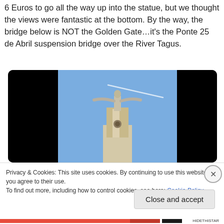6 Euros to go all the way up into the statue, but we thought the views were fantastic at the bottom. By the way, the bridge below is NOT the Golden Gate…it's the Ponte 25 de Abril suspension bridge over the River Tagus.
[Figure (photo): Photo of the Cristo Rei statue in Lisbon, viewed from below against a blue sky, with black letterbox bars on either side as if displayed in a video player with dark background.]
Privacy & Cookies: This site uses cookies. By continuing to use this website, you agree to their use.
To find out more, including how to control cookies, see here: Cookie Policy